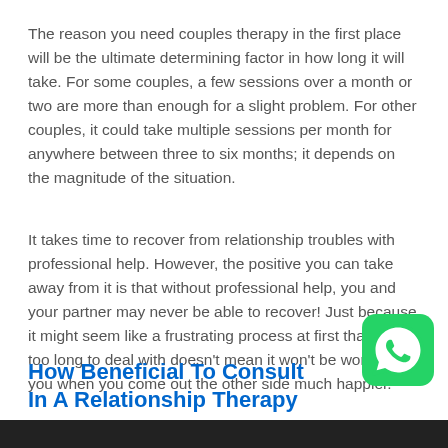The reason you need couples therapy in the first place will be the ultimate determining factor in how long it will take. For some couples, a few sessions over a month or two are more than enough for a slight problem. For other couples, it could take multiple sessions per month for anywhere between three to six months; it depends on the magnitude of the situation.
It takes time to recover from relationship troubles with professional help. However, the positive you can take away from it is that without professional help, you and your partner may never be able to recover! Just because it might seem like a frustrating process at first that's far too long to deal with doesn't mean it won't be worth it for you when you come out the other side much happier.
How Beneficial To Consult In A Relationship Therapy
[Figure (logo): WhatsApp logo icon — green rounded square with white phone handset speech bubble]